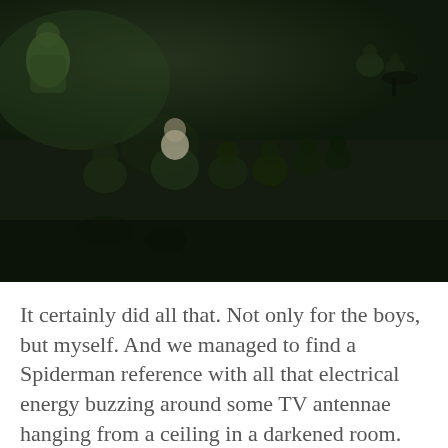[Figure (photo): A dark, dimly lit room with multiple people (children/boys) sitting on the floor in a line or scattered arrangement. The scene appears to be in a large dark space with a greenish-dark tint. Silhouettes of seated figures are visible, one person in the center appears to be wearing a light-colored top.]
It certainly did all that. Not only for the boys, but myself. And we managed to find a Spiderman reference with all that electrical energy buzzing around some TV antennae hanging from a ceiling in a darkened room.